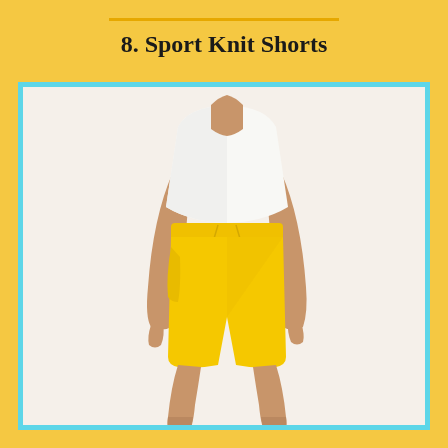8. Sport Knit Shorts
[Figure (photo): A woman wearing bright yellow sport knit shorts with a white top. The shorts have an elastic waistband with a drawstring tie. She is standing against a white background. The image is framed with a light blue/cyan border.]